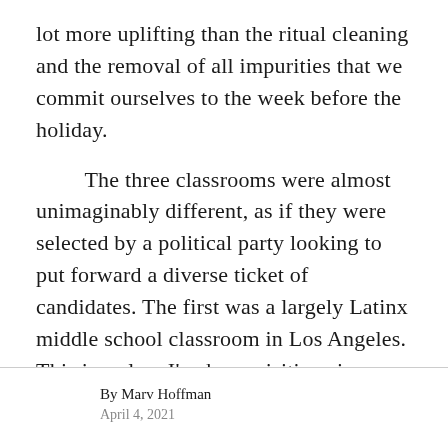lot more uplifting than the ritual cleaning and the removal of all impurities that we commit ourselves to the week before the holiday.
The three classrooms were almost unimaginably different, as if they were selected by a political party looking to put forward a diverse ticket of candidates. The first was a largely Latinx middle school classroom in Los Angeles. This is a class I've been visiting since early in the school year. Their teacher Alex Krueger is a former student in the teacher preparation program I worked with at the
By Marv Hoffman
April 4, 2021